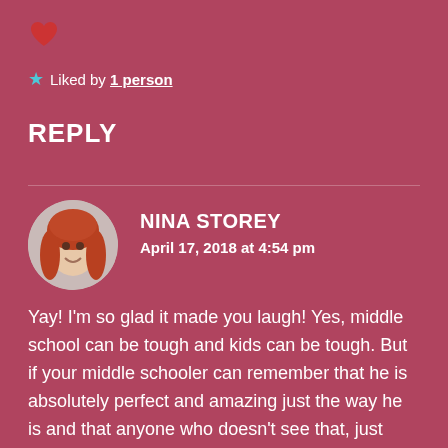[Figure (illustration): Red heart icon at top left]
★ Liked by 1 person
REPLY
[Figure (photo): Circular avatar photo of Nina Storey, a woman with red hair, smiling]
NINA STOREY
April 17, 2018 at 4:54 pm
Yay! I'm so glad it made you laugh! Yes, middle school can be tough and kids can be tough. But if your middle schooler can remember that he is absolutely perfect and amazing just the way he is and that anyone who doesn't see that, just hasn't become enlightened yet, maybe he'll be able to slide